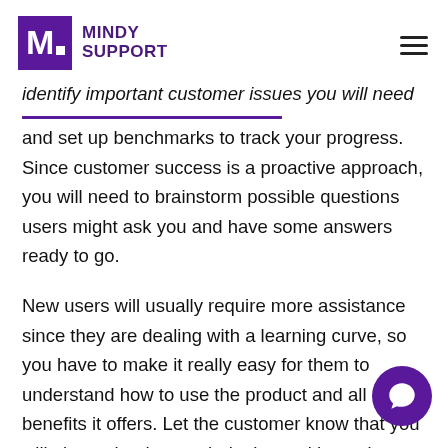MINDY SUPPORT
identify important customer issues you will need to solve and set up benchmarks to track your progress. Since customer success is a proactive approach, you will need to brainstorm possible questions users might ask you and have some answers ready to go.
New users will usually require more assistance since they are dealing with a learning curve, so you have to make it really easy for them to understand how to use the product and all of the benefits it offers. Let the customer know that you will always be there to help them with any issues they are having. If you notice a pattern of issues many customers are dealing with, you should share this